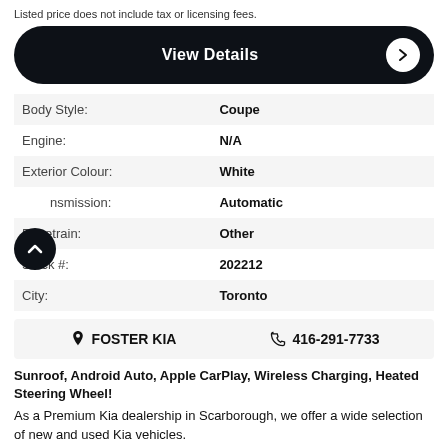Listed price does not include tax or licensing fees.
View Details
|  |  |
| --- | --- |
| Body Style: | Coupe |
| Engine: | N/A |
| Exterior Colour: | White |
| nsmission: | Automatic |
| Drivetrain: | Other |
| Stock #: | 202212 |
| City: | Toronto |
FOSTER KIA   416-291-7733
Sunroof, Android Auto, Apple CarPlay, Wireless Charging, Heated Steering Wheel!
As a Premium Kia dealership in Scarborough, we offer a wide selection of new and used Kia vehicles.
Small in stature, but big in style, this 2022 Kia Forte is a c.....Read More